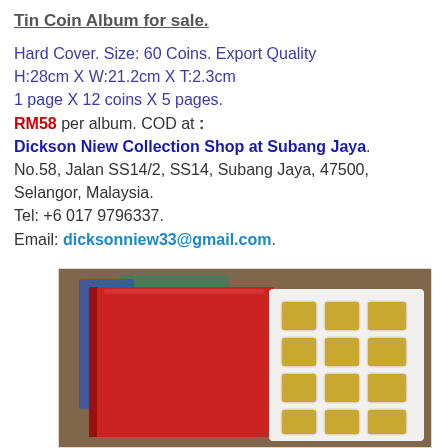Tin Coin Album for sale.
Hard Cover. Size: 60 Coins. Export Quality
H:28cm X W:21.2cm X T:2.3cm
1 page X 12 coins X 5 pages.
RM58 per album. COD at :
Dickson Niew Collection Shop at Subang Jaya.
No.58, Jalan SS14/2, SS14, Subang Jaya, 47500,
Selangor, Malaysia.
Tel: +6 017 9796337.
Email: dicksonniew33@gmail.com.
[Figure (photo): Photo of a red hard-cover coin album next to an open page showing coin slots arranged in a 3x4 grid with yellow/gold colored pockets, on a wooden surface]